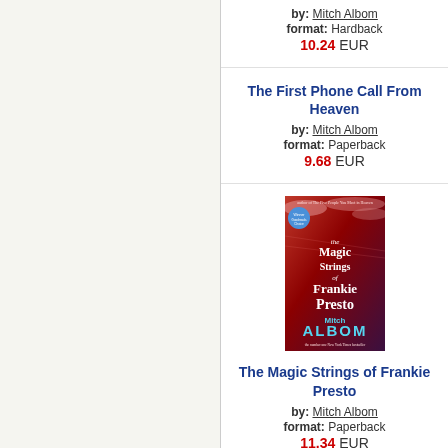by: Mitch Albom
format: Hardback
10.24 EUR
The First Phone Call From Heaven
by: Mitch Albom
format: Paperback
9.68 EUR
[Figure (photo): Book cover of The Magic Strings of Frankie Presto by Mitch Albom - red/dark gradient cover with title text and author name]
The Magic Strings of Frankie Presto
by: Mitch Albom
format: Paperback
11.34 EUR
Finding Chika
by: Mitch Albom